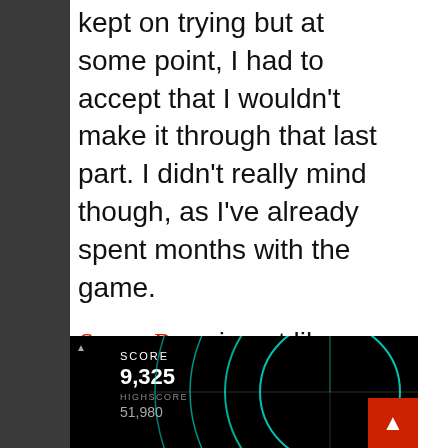kept on trying but at some point, I had to accept that I wouldn't make it through that last part. I didn't really mind though, as I've already spent months with the game.
Sonar Beat is not like Guitar Hero. It didn't grant me that gradual long-time challenge. At the beginning it stands out with a unique gameplay mechanic. Instead of notes going across the screen in one way or another, your beats appear on a sonar. A line goes around in circles and marks the spot when you are supposed to hit a beat or enemy as Sonar Beat calls it, sticking to the submarine theme. There are three types of notes you encounter which you master by tapping a button, holding it for the right amount of time or tapping two buttons at the same time.
[Figure (screenshot): Screenshot of Sonar Beat game showing SCORE 9,325 and HIGHSCORE 51,980 on the left, with sonar arc graphics in cyan/teal on a black background.]